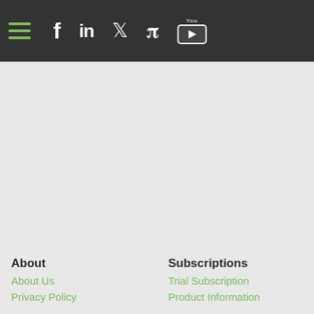Navigation bar with hamburger menu and social icons: Facebook, LinkedIn, Twitter, Pinterest, YouTube
About
About Us
Privacy Policy
Subscriptions
Trial Subscription
Product Information